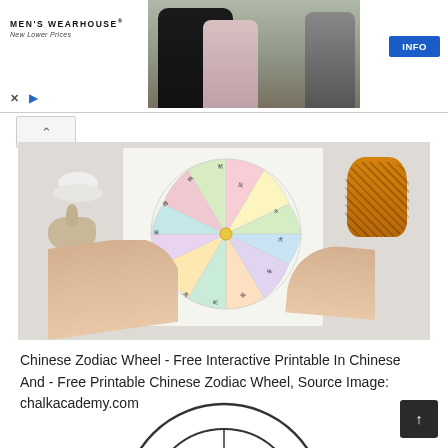[Figure (advertisement): Men's Wearhouse advertisement banner with logo, wedding couple and suited man photos, INFO button]
[Figure (photo): Chinese Zodiac Wheel printable activity - child's hands spinning a colorful paper zodiac wheel on a marble surface with rabbit and tiger figurines]
Chinese Zodiac Wheel - Free Interactive Printable In Chinese And - Free Printable Chinese Zodiac Wheel, Source Image: chalkacademy.com
[Figure (illustration): Partial Chinese Zodiac wheel showing Pig and Rat sections at bottom of page]